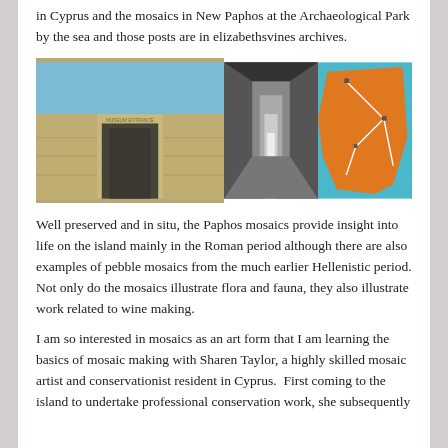in Cyprus and the mosaics in New Paphos at the Archaeological Park by the sea and those posts are in elizabethsvines archives.
[Figure (photo): Three images side by side: left shows exterior of a stone building (museum/archaeological site) with columns and entrance under blue sky; center shows interior corridor with receding archways in dark tones; right shows an orange-colored map of the Paphos region with roads and coastline marked in white on teal/blue water.]
Well preserved and in situ, the Paphos mosaics provide insight into life on the island mainly in the Roman period although there are also examples of pebble mosaics from the much earlier Hellenistic period. Not only do the mosaics illustrate flora and fauna, they also illustrate work related to wine making.
I am so interested in mosaics as an art form that I am learning the basics of mosaic making with Sharen Taylor, a highly skilled mosaic artist and conservationist resident in Cyprus.  First coming to the island to undertake professional conservation work, she subsequently